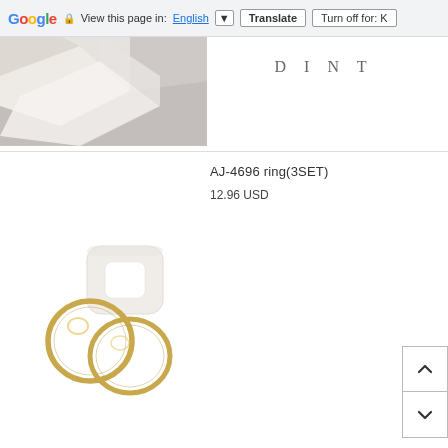Google  View this page in: English  Translate  Turn off for: K
[Figure (photo): Partial product lifestyle photo showing angular white geometric surfaces, with DINT logo text visible at top]
AJ-4696 ring(3SET)
12.96 USD
[Figure (photo): Product photo showing three rings: one white square/rectangular resin ring and two thin gold-tone circular rings arranged together on white background]